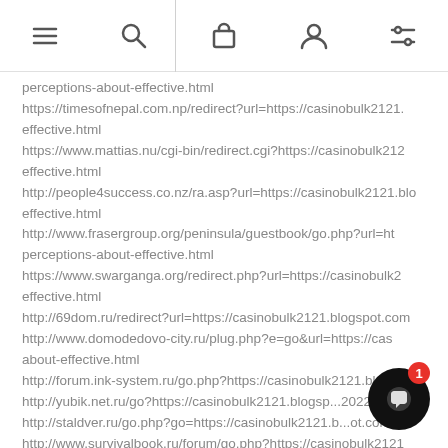Navigation bar with menu, search, cart, account, and filter icons
perceptions-about-effective.html
https://timesofnepal.com.np/redirect?url=https://casinobulk2121.b... effective.html
https://www.mattias.nu/cgi-bin/redirect.cgi?https://casinobulk212... effective.html
http://people4success.co.nz/ra.asp?url=https://casinobulk2121.blo... effective.html
http://www.frasergroup.org/peninsula/guestbook/go.php?url=ht... perceptions-about-effective.html
https://www.swarganga.org/redirect.php?url=https://casinobulk2... effective.html
http://69dom.ru/redirect?url=https://casinobulk2121.blogspot.com...
http://www.domodedovo-city.ru/plug.php?e=go&url=https://cas... about-effective.html
http://forum.ink-system.ru/go.php?https://casinobulk2121.blogsp...
http://yubik.net.ru/go?https://casinobulk2121.blogsp...2022...
http://staldver.ru/go.php?go=https://casinobulk2121.b...ot.com...
http://www.survivalbook.ru/forum/go.php?https://casinobulk2121... effective.html